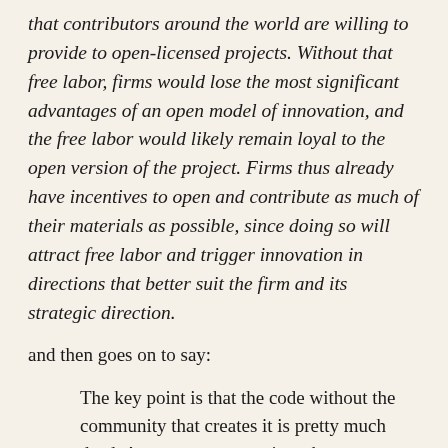that contributors around the world are willing to provide to open-licensed projects. Without that free labor, firms would lose the most significant advantages of an open model of innovation, and the free labor would likely remain loyal to the open version of the project. Firms thus already have incentives to open and contribute as much of their materials as possible, since doing so will attract free labor and trigger innovation in directions that better suit the firm and its strategic direction.
and then goes on to say:
The key point is that the code without the community that creates it is pretty much dead. A company may gain a short-term